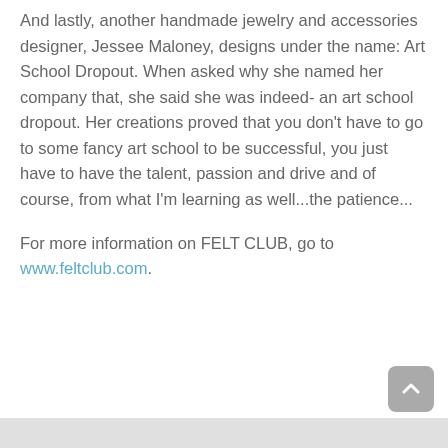And lastly, another handmade jewelry and accessories designer, Jessee Maloney, designs under the name: Art School Dropout. When asked why she named her company that, she said she was indeed- an art school dropout. Her creations proved that you don't have to go to some fancy art school to be successful, you just have to have the talent, passion and drive and of course, from what I'm learning as well...the patience...
For more information on FELT CLUB, go to www.feltclub.com.